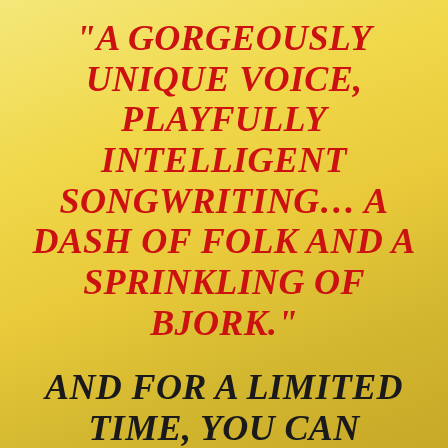“A GORGEOUSLY UNIQUE VOICE, PLAYFULLY INTELLIGENT SONGWRITING… A DASH OF FOLK AND A SPRINKLING OF BJORK.”
AND FOR A LIMITED TIME, YOU CAN DOWNLOAD KAREN